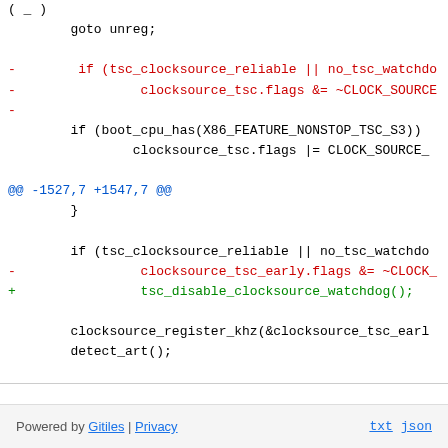( _ )
        goto unreg;
-        if (tsc_clocksource_reliable || no_tsc_watchdo
-                clocksource_tsc.flags &= ~CLOCK_SOURCE
-
if (boot_cpu_has(X86_FEATURE_NONSTOP_TSC_S3))
                clocksource_tsc.flags |= CLOCK_SOURCE_
@@ -1527,7 +1547,7 @@
        }
if (tsc_clocksource_reliable || no_tsc_watchdo
-                clocksource_tsc_early.flags &= ~CLOCK_
+                tsc_disable_clocksource_watchdog();
clocksource_register_khz(&clocksource_tsc_earl
        detect_art();
Powered by Gitiles | Privacy    txt  json